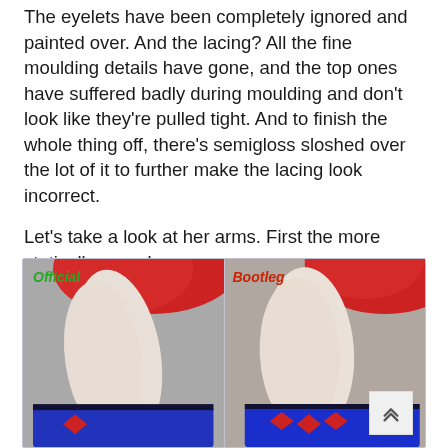The eyelets have been completely ignored and painted over. And the lacing? All the fine moulding details have gone, and the top ones have suffered badly during moulding and don't look like they're pulled tight. And to finish the whole thing off, there's semigloss sloshed over the lot of it to further make the lacing look incorrect.

Let's take a look at her arms. First the more statically-posed one:
[Figure (photo): Side-by-side comparison photo of an Official (left) and Bootleg (right) figure's arm area. Both show a pale/white arm with red fabric at the top and blue accessory at the bottom. The left panel is labeled 'Official' in green italic text, the right panel is labeled 'Bootleg' in red italic text.]